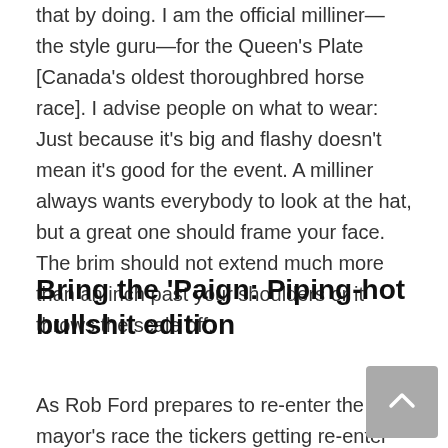that by doing. I am the official milliner—the style guru—for the Queen's Plate [Canada's oldest thoroughbred horse race]. I advise people on what to wear: Just because it's big and flashy doesn't mean it's good for the event. A milliner always wants everybody to look at the hat, but a great one should frame your face. The brim should not extend much more than an inch past your shoulders or it throws the scale off.
Bring the 'Paign: Piping-hot bullshit edition
As Rob Ford prepares to re-enter the mayor's race the tickers getting re-enter fire without his...